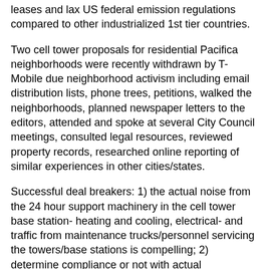leases and lax US federal emission regulations compared to other industrialized 1st tier countries.
Two cell tower proposals for residential Pacifica neighborhoods were recently withdrawn by T-Mobile due neighborhood activism including email distribution lists, phone trees, petitions, walked the neighborhoods, planned newspaper letters to the editors, attended and spoke at several City Council meetings, consulted legal resources, reviewed property records, researched online reporting of similar experiences in other cities/states.
Successful deal breakers: 1) the actual noise from the 24 hour support machinery in the cell tower base station- heating and cooling, electrical- and traffic from maintenance trucks/personnel servicing the towers/base stations is compelling; 2) determine compliance or not with actual easement/property lines and regulations, 3) determine actual sight lines vs. perhaps diminished versions promoted by the cell